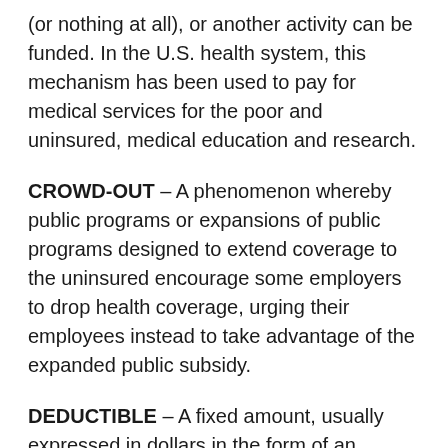(or nothing at all), or another activity can be funded. In the U.S. health system, this mechanism has been used to pay for medical services for the poor and uninsured, medical education and research.
CROWD-OUT – A phenomenon whereby public programs or expansions of public programs designed to extend coverage to the uninsured encourage some employers to drop health coverage, urging their employees instead to take advantage of the expanded public subsidy.
DEDUCTIBLE – A fixed amount, usually expressed in dollars in the form of an annual fee, that the beneficiary of a health insurance plan must pay directly to the health care provider before a health insurance plan begins to pay for any costs associated with the insured medical service.